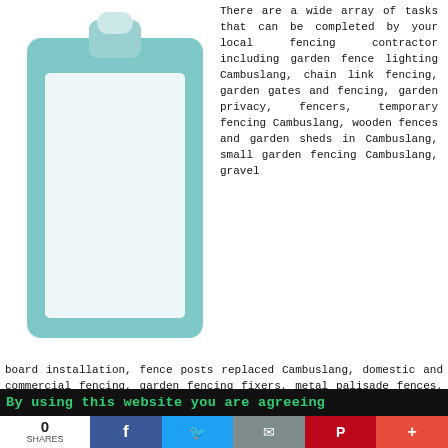[Figure (illustration): Clipboard illustration with teal/turquoise color and white paper area]
There are a wide array of tasks that can be completed by your local fencing contractor including garden fence lighting Cambuslang, chain link fencing, garden gates and fencing, garden privacy, fencers, temporary fencing Cambuslang, wooden fences and garden sheds in Cambuslang, small garden fencing Cambuslang, gravel board installation, fence posts replaced Cambuslang, domestic and commercial fencing, garden fencing fixers, metal palisade fences, budget fence fitting, feather edge fence panel installation, the installation of garden decking, waney edge fence panel installation, trellis fencing, cheapest local garden fencing fitters, timber fencing maintenance, garden fencing panels installed, hit & miss fences Cambuslang, concrete fence post installation, tanalised fence posts, garden security in Cambuslang, picket fencing, ridged panel mesh fences, tanalised garden fencing Cambuslang, wrought iron fencing Cambuslang, featheredge fencing, garden fencing design, cheap garden
By using this website you are agreeing
0 SHARES